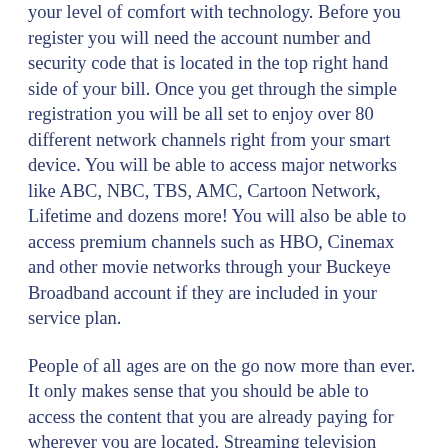your level of comfort with technology. Before you register you will need the account number and security code that is located in the top right hand side of your bill. Once you get through the simple registration you will be all set to enjoy over 80 different network channels right from your smart device. You will be able to access major networks like ABC, NBC, TBS, AMC, Cartoon Network, Lifetime and dozens more! You will also be able to access premium channels such as HBO, Cinemax and other movie networks through your Buckeye Broadband account if they are included in your service plan.
People of all ages are on the go now more than ever. It only makes sense that you should be able to access the content that you are already paying for wherever you are located. Streaming television content is not what it was just a few years ago. Lots of people imagine a blurred or grainy picture quality that buffers more than it plays. Welcome to the new era of streaming television where this horrible memory is a thing of the past thanks to Buckeye Broadband. Whether you want to watch...